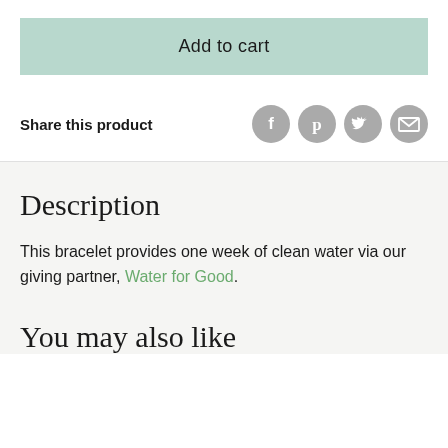Add to cart
Share this product
[Figure (infographic): Four circular social media share icons: Facebook (f), Pinterest (p), Twitter bird), and Email (envelope), all in grey]
Description
This bracelet provides one week of clean water via our giving partner, Water for Good.
You may also like